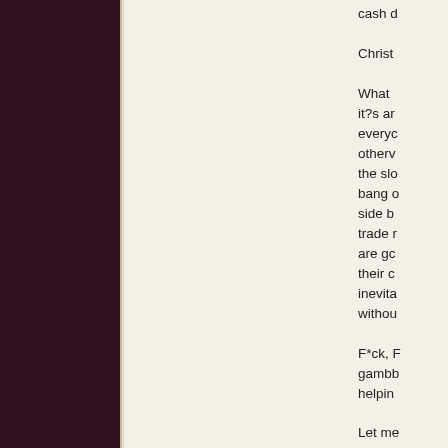cash d
Christ
What it?s ar every others the slo bang d side b trade r are go their c inevita withou
F*ck, F gambb helpin
Let me usuall certai is it or and a know